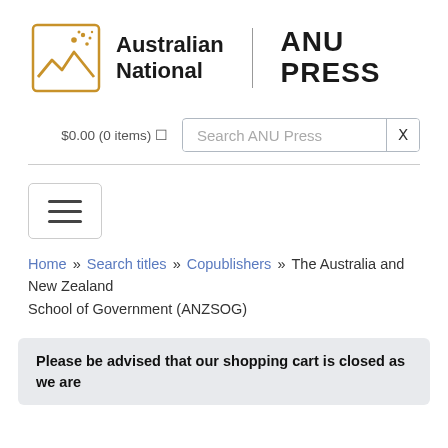[Figure (logo): Australian National University / ANU PRESS logo with gold mountain and stars icon]
$0.00 (0 items)
Search ANU Press
[Figure (other): Hamburger menu button (three horizontal lines in a rounded rectangle border)]
Home » Search titles » Copublishers » The Australia and New Zealand School of Government (ANZSOG)
Please be advised that our shopping cart is closed as we are